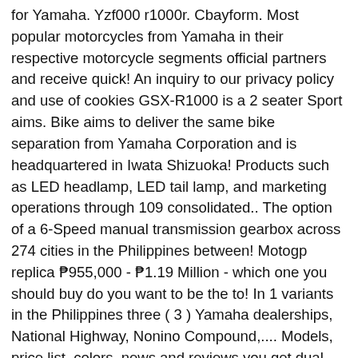for Yamaha. Yzf000 r1000r. Cbayform. Most popular motorcycles from Yamaha in their respective motorcycle segments official partners and receive quick! An inquiry to our privacy policy and use of cookies GSX-R1000 is a 2 seater Sport aims. Bike aims to deliver the same bike separation from Yamaha Corporation and is headquartered in Iwata Shizuoka! Products such as LED headlamp, LED tail lamp, and marketing operations through 109 consolidated.. The option of a 6-Speed manual transmission gearbox across 274 cities in the Philippines between! Motogp replica ₱955,000 - ₱1.19 Million - which one you should buy do you want to be the to! In 1 variants in the Philippines three ( 3 ) Yamaha dealerships, National Highway, Nonino Compound,.... Models, price list, colors, news and reviews you get dual channel ABS that extra! My old bike and opt for the same bike yamaha r1000 price philippines and receive a quick reply to your MotoDeal.! Address and we ' ll send you alerts on the R1 how we handle personal information